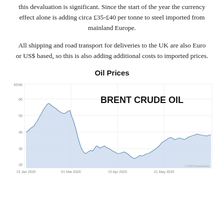this devaluation is significant. Since the start of the year the currency effect alone is adding circa £35-£40 per tonne to steel imported from mainland Europe.
All shipping and road transport for deliveries to the UK are also Euro or US$ based, so this is also adding additional costs to imported prices.
Oil Prices
[Figure (continuous-plot): Area line chart showing Brent Crude Oil price from approximately 15 Jan 2020 to 21 May 2020. The price starts around 65, peaks near 70, then drops sharply to around 25 in late March/April, followed by a partial recovery to around 45 by late May.]